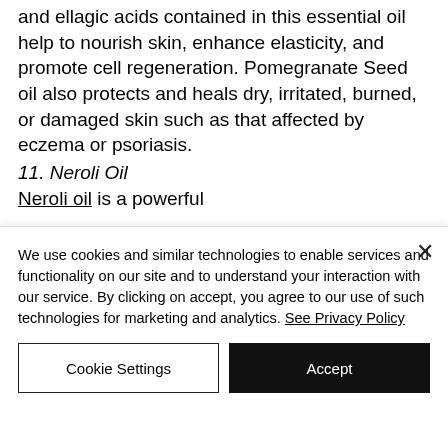and ellagic acids contained in this essential oil help to nourish skin, enhance elasticity, and promote cell regeneration. Pomegranate Seed oil also protects and heals dry, irritated, burned, or damaged skin such as that affected by eczema or psoriasis.
11. Neroli Oil
Neroli oil is a powerful
We use cookies and similar technologies to enable services and functionality on our site and to understand your interaction with our service. By clicking on accept, you agree to our use of such technologies for marketing and analytics. See Privacy Policy